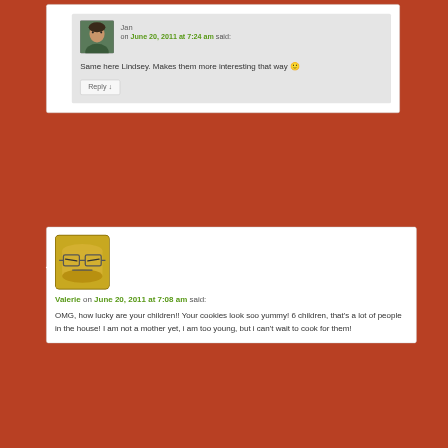[Figure (screenshot): Blog comment from Jan on June 20, 2011 at 7:24 am with avatar photo, saying 'Same here Lindsey. Makes them more interesting that way 🙂' with a Reply button]
[Figure (screenshot): Blog comment from Valerie on June 20, 2011 at 7:08 am with an angry emoji avatar, saying 'OMG, how lucky are your children!! Your cookies look soo yummy! 6 children, that's a lot of people in the house! I am not a mother yet, i am too young, but i can't wait to cook for them!']